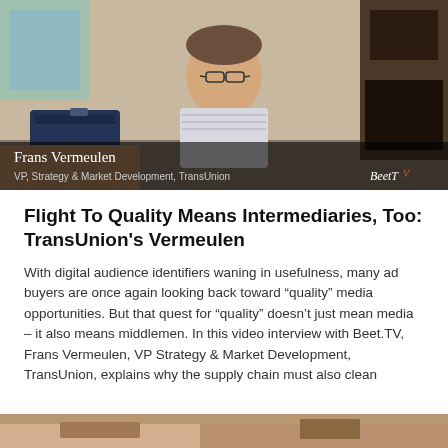[Figure (screenshot): Video thumbnail screenshot of Frans Vermeulen, VP Strategy & Market Development, TransUnion, seated in a home office setting with a lower-third chyron overlay. BeetTV logo visible bottom right.]
Flight To Quality Means Intermediaries, Too: TransUnion's Vermeulen
With digital audience identifiers waning in usefulness, many ad buyers are once again looking back toward “quality” media opportunities. But that quest for “quality” doesn't just mean media – it also means middlemen. In this video interview with Beet.TV, Frans Vermeulen, VP Strategy & Market Development, TransUnion, explains why the supply chain must also clean
[Figure (screenshot): Partial video thumbnail at the bottom of the page, cropped, showing a warm-toned room setting.]